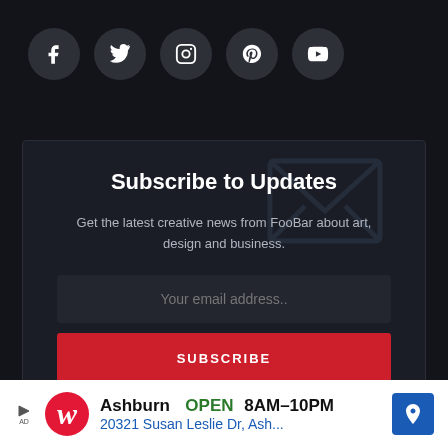[Figure (infographic): Row of five social media icon buttons (Facebook, Twitter, Instagram, Pinterest, YouTube) as dark circular buttons with white icons on a dark background]
Subscribe to Updates
Get the latest creative news from FooBar about art, design and business.
Your email address..
SUBSCRIBE
Agree to the our terms and policy agreement
[Figure (infographic): Advertisement banner: Walgreens ad showing 'Ashburn OPEN 8AM-10PM, 20321 Susan Leslie Dr, Ash...' with Walgreens logo and blue navigation arrow icon]